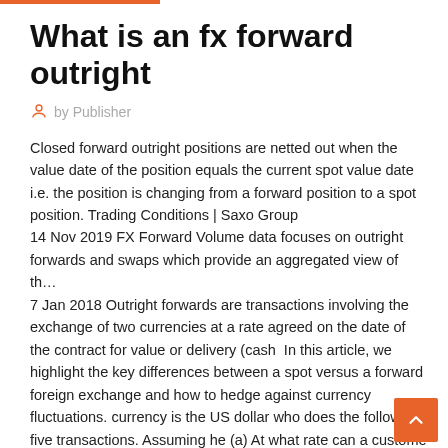What is an fx forward outright
by Publisher
Closed forward outright positions are netted out when the value date of the position equals the current spot value date i.e. the position is changing from a forward position to a spot position. Trading Conditions | Saxo Group
14 Nov 2019 FX Forward Volume data focuses on outright forwards and swaps which provide an aggregated view of th…
7 Jan 2018 Outright forwards are transactions involving the exchange of two currencies at a rate agreed on the date of the contract for value or delivery (cash  In this article, we highlight the key differences between a spot versus a forward foreign exchange and how to hedge against currency fluctuations. currency is the US dollar who does the following five transactions. Assuming he (a) At what rate can a customer buy